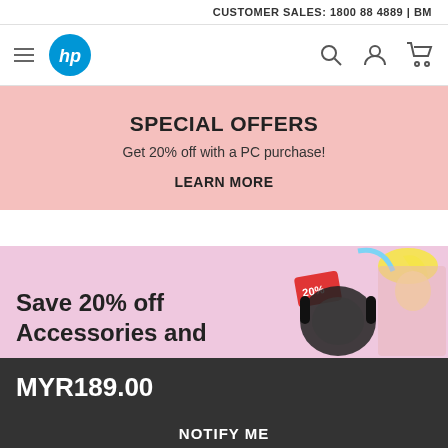CUSTOMER SALES: 1800 88 4889 | BM
[Figure (logo): HP logo (blue circle with white HP letters), hamburger menu icon, search icon, user icon, cart icon]
[Figure (infographic): Pink banner with text: SPECIAL OFFERS - Get 20% off with a PC purchase! LEARN MORE]
[Figure (infographic): Light pink banner showing Save 20% off Accessories and... with headphones and a woman's photo, 20% tag]
MYR189.00
NOTIFY ME